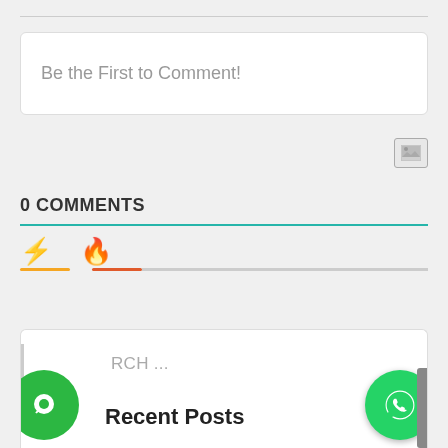Be the First to Comment!
0 COMMENTS
[Figure (screenshot): Comment section UI with icons (bolt and fire), teal divider, and a bottom card with search field and Recent Posts header. Green chat bubble and WhatsApp button visible.]